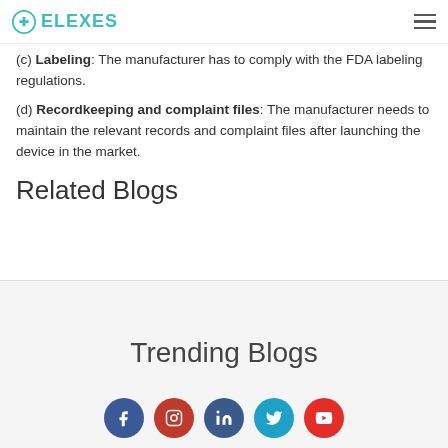ELEXES
(c) Labeling: The manufacturer has to comply with the FDA labeling regulations.
(d) Recordkeeping and complaint files: The manufacturer needs to maintain the relevant records and complaint files after launching the device in the market.
Related Blogs
Trending Blogs
[Figure (other): Social media icons row: Facebook, Instagram, LinkedIn, Twitter, YouTube]